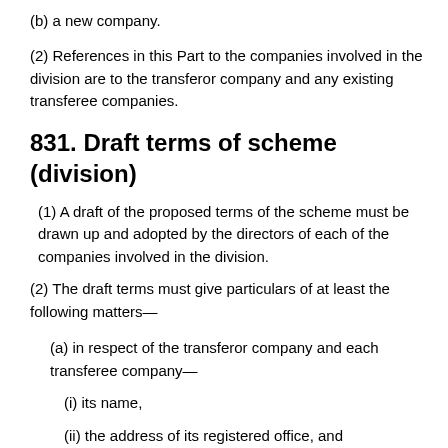(b) a new company.
(2) References in this Part to the companies involved in the division are to the transferor company and any existing transferee companies.
831. Draft terms of scheme (division)
(1) A draft of the proposed terms of the scheme must be drawn up and adopted by the directors of each of the companies involved in the division.
(2) The draft terms must give particulars of at least the following matters—
(a) in respect of the transferor company and each transferee company—
(i) its name,
(ii) the address of its registered office, and
(iii) whether it is a company limited by shares or a company